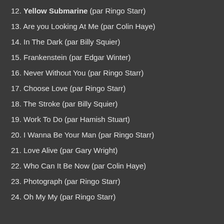12. Yellow Submarine (par Ringo Starr)
13. Are you Looking At Me (par Colin Haye)
14. In The Dark (par Billy Squier)
15. Frankenstein (par Edgar Winter)
16. Never Without You (par Ringo Starr)
17. Choose Love (par Ringo Starr)
18. The Stroke (par Billy Squier)
19. Work To Do (par Hamish Stuart)
20. I Wanna Be Your Man (par Ringo Starr)
21. Love Alive (par Gary Wright)
22. Who Can It Be Now (par Colin Haye)
23. Photograph (par Ringo Starr)
24. Oh My My (par Ringo Starr)